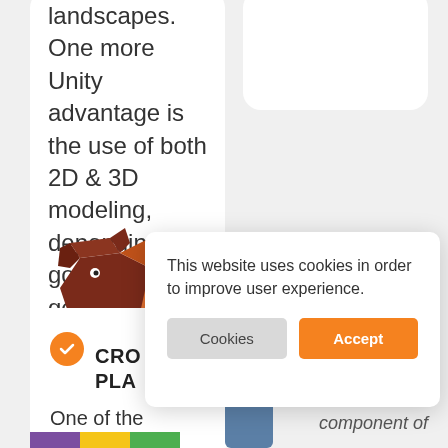landscapes. One more Unity advantage is the use of both 2D & 3D modeling, depending on goals and the genre of the game.
[Figure (illustration): A stylized game character (rhino/creature) illustration in dark red/brown and orange colors, partially visible]
CRO PLAT
One of the
component of
This website uses cookies in order to improve user experience.
Cookies
Accept